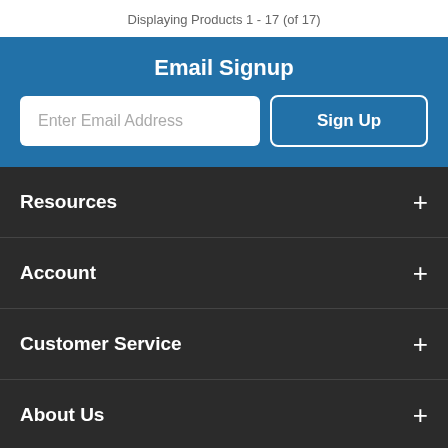Displaying Products 1 - 17 (of 17)
Email Signup
Enter Email Address
Sign Up
Resources
Account
Customer Service
About Us